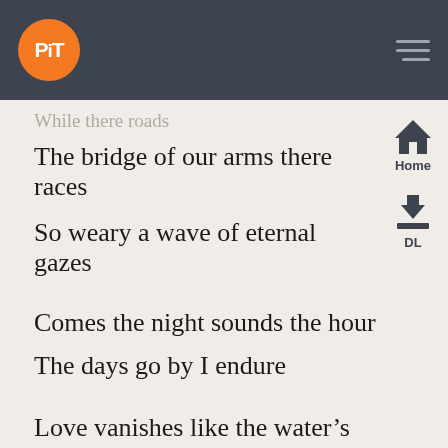PiT logo and navigation header
While there roads
The bridge of our arms there races
So weary a wave of eternal gazes
Comes the night sounds the hour
The days go by I endure
Love vanishes like the water’s flow
Love vanishes
How life is slow
And how Hope lives blow by blow